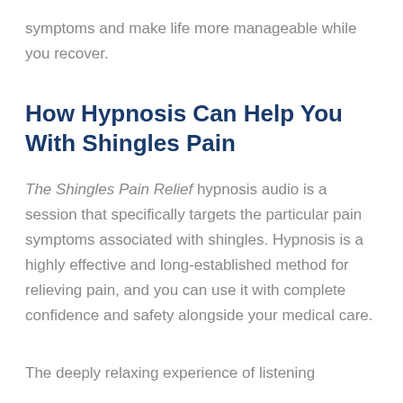symptoms and make life more manageable while you recover.
How Hypnosis Can Help You With Shingles Pain
The Shingles Pain Relief hypnosis audio is a session that specifically targets the particular pain symptoms associated with shingles. Hypnosis is a highly effective and long-established method for relieving pain, and you can use it with complete confidence and safety alongside your medical care.
The deeply relaxing experience of listening